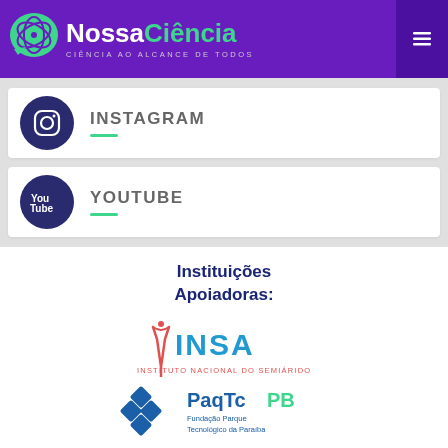NossaCiência – CIÊNCIA AO ALCANCE DE TODOS
INSTAGRAM
YOUTUBE
Instituições Apoiadoras:
[Figure (logo): INSA – Instituto Nacional do Semiárido logo]
[Figure (logo): PaqTcPB – Fundação Parque Tecnológico da Paraíba logo]